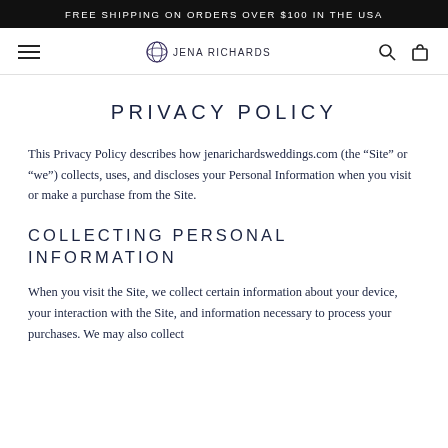FREE SHIPPING ON ORDERS OVER $100 IN THE USA
[Figure (logo): Jena Richards logo with navigation bar including hamburger menu, logo, search and bag icons]
PRIVACY POLICY
This Privacy Policy describes how jenarichardsweddings.com (the “Site” or “we”) collects, uses, and discloses your Personal Information when you visit or make a purchase from the Site.
COLLECTING PERSONAL INFORMATION
When you visit the Site, we collect certain information about your device, your interaction with the Site, and information necessary to process your purchases. We may also collect